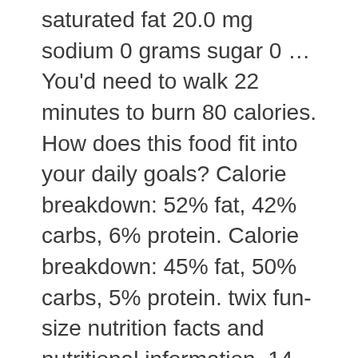saturated fat 20.0 mg sodium 0 grams sugar 0 … You'd need to walk 22 minutes to burn 80 calories. How does this food fit into your daily goals? Calorie breakdown: 52% fat, 42% carbs, 6% protein. Calorie breakdown: 45% fat, 50% carbs, 5% protein. twix fun-size nutrition facts and nutritional information. 14 of 29. Please note that some foods may not be suitable for some people and you are urged to seek the advice of a physician before beginning any weight loss effort or diet regimen. There are 80 calories in 1 bar (16 g) of Twix Twix (Fun Size). 6.1g fat. Cadbury. Calories % Daily Value* ... * The % Daily Value (DV) tells you how much a nutrient in a serving of food contributes to a daily diet. 80